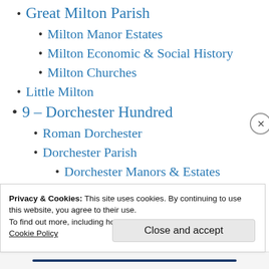Great Milton Parish
Milton Manor Estates
Milton Economic & Social History
Milton Churches
Little Milton
9 – Dorchester Hundred
Roman Dorchester
Dorchester Parish
Dorchester Manors & Estates
Dorchester Social & Economic
History
Privacy & Cookies: This site uses cookies. By continuing to use this website, you agree to their use.
To find out more, including how to control cookies, see here: Cookie Policy
Close and accept